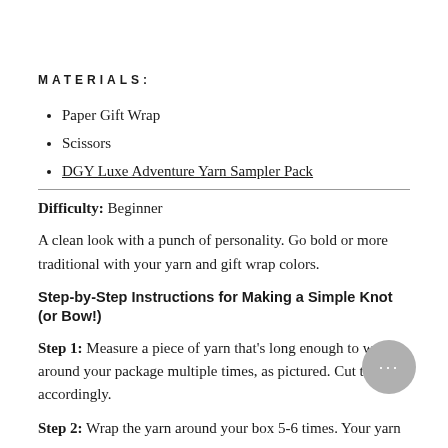MATERIALS:
Paper Gift Wrap
Scissors
DGY Luxe Adventure Yarn Sampler Pack
Difficulty: Beginner
A clean look with a punch of personality. Go bold or more traditional with your yarn and gift wrap colors.
Step-by-Step Instructions for Making a Simple Knot (or Bow!)
Step 1: Measure a piece of yarn that's long enough to wrap around your package multiple times, as pictured. Cut the yarn accordingly.
Step 2: Wrap the yarn around your box 5-6 times. Your yarn